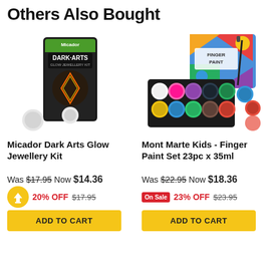Others Also Bought
[Figure (photo): Micador Dark Arts Glow Jewellery Kit product box with glowing jewellery design on dark background]
Micador Dark Arts Glow Jewellery Kit
Was $17.95 Now $14.36
20% OFF $17.95
ADD TO CART
[Figure (photo): Mont Marte Kids Finger Paint Set 23pc x 35ml colorful paint pots with box]
Mont Marte Kids - Finger Paint Set 23pc x 35ml
Was $22.95 Now $18.36
On Sale 23% OFF $23.95
ADD TO CART